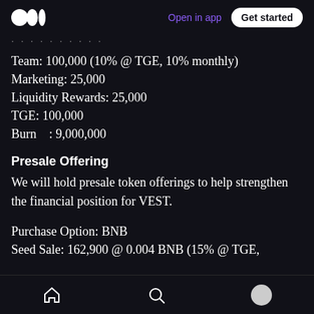Open in app | Get started
Team: 100,000 (10% @ TGE, 10% monthly)
Marketing: 25,000
Liquidity Rewards: 25,000
TGE: 100,000
Burn   : 9,000,000
Presale Offering
We will hold presale token offerings to help strengthen the financial position for VEST.
Purchase Option: BNB
Seed Sale: 162,900 @ 0.004 BNB (15% @ TGE,
Home | Search | Profile